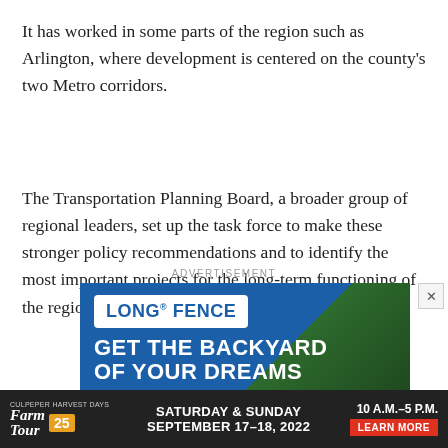It has worked in some parts of the region such as Arlington, where development is centered on the county's two Metro corridors.
The Transportation Planning Board, a broader group of regional leaders, set up the task force to make these stronger policy recommendations and to identify the most important projects for the long-term functioning of the region.
[Figure (other): Advertisement: Long Fence 'GET THE BACKYARD OF YOUR DREAMS' ad with a background image of a backyard with trees and lighting. Below is a banner for Culpeper Harvest Days Farm Tour 25 on Saturday & Sunday September 17-18, 2022, 10 A.M.–5 P.M. with a Learn More button.]